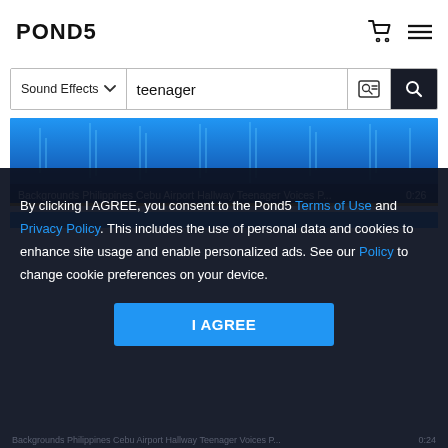POND5
Sound Effects  teenager
[Figure (screenshot): Audio waveform card showing 'Backgrounds Philippines Cebu Airport Hallway Teenager Voices P...' duration 0:26 with a blue waveform visualization and yellow bottom border]
By clicking I AGREE, you consent to the Pond5 Terms of Use and Privacy Policy. This includes the use of personal data and cookies to enhance site usage and enable personalized ads. See our Policy to change cookie preferences on your device.
I AGREE
Backgrounds Philippines Cebu Airport Hallway Teenager Voices P...  0:24